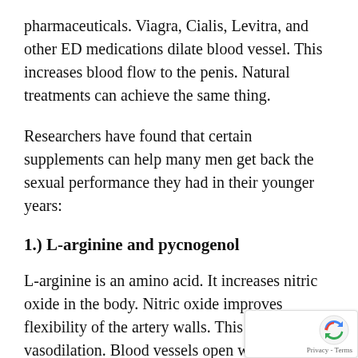pharmaceuticals. Viagra, Cialis, Levitra, and other ED medications dilate blood vessel. This increases blood flow to the penis. Natural treatments can achieve the same thing.
Researchers have found that certain supplements can help many men get back the sexual performance they had in their younger years:
1.) L-arginine and pycnogenol
L-arginine is an amino acid. It increases nitric oxide in the body. Nitric oxide improves flexibility of the artery walls. This increases vasodilation. Blood vessels open wider. In turn, this helps erections [3]
Pycnogenol is a supplement derived from pine It improves blood circulation [4]